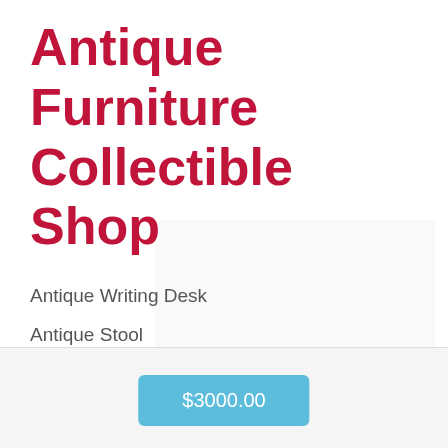Antique Furniture Collectible Shop
Antique Writing Desk
Antique Stool
Antique Chair
Antique Table
Antique Cupboard
Antique Cabinet
$3000.00